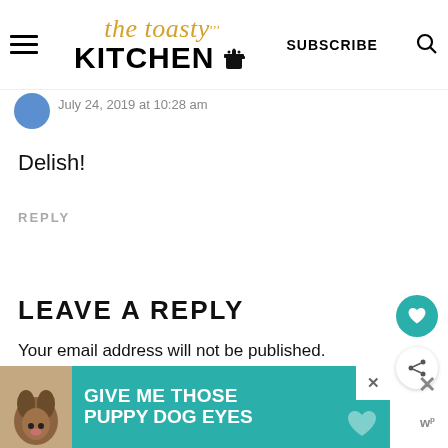the toasty KITCHEN — SUBSCRIBE
July 24, 2019 at 10:28 am
Delish!
REPLY
LEAVE A REPLY
Your email address will not be published.
Required fields are marked *
[Figure (infographic): Advertisement banner: teal background with dog photo and text 'GIVE ME THOSE PUPPY DOG EYES' with a heart icon and close button]